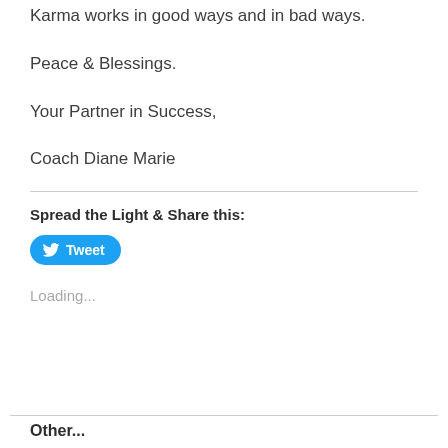Karma works in good ways and in bad ways.
Peace & Blessings.
Your Partner in Success,
Coach Diane Marie
Spread the Light & Share this:
[Figure (other): Twitter Tweet button, blue rounded rectangle with bird icon and 'Tweet' text]
Loading...
Other...